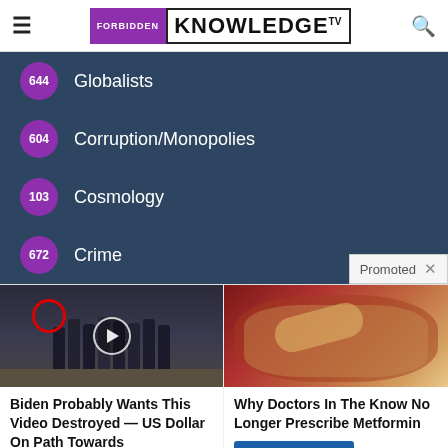FORBIDDEN KNOWLEDGE TV
644 Globalists
604 Corruption/Monopolies
103 Cosmology
672 Crime
Promoted ×
[Figure (photo): Group of people in formal attire standing in front of CIA floor seal, with red circle highlighting one person and play button overlay]
Biden Probably Wants This Video Destroyed — US Dollar On Path Towards Replacement? Watch The Video
[Figure (photo): Close-up medical/anatomical image of intestines or organs]
Why Doctors In The Know No Longer Prescribe Metformin Watch The Video